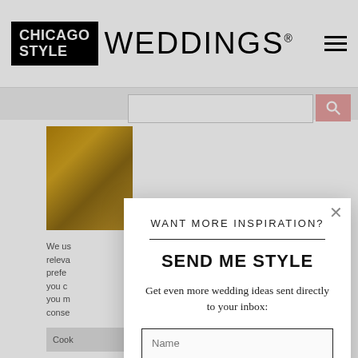CHICAGO STYLE WEDDINGS
[Figure (screenshot): Background website page with search bar and thumbnail image of golden/brown texture]
WANT MORE INSPIRATION?
SEND ME STYLE
Get even more wedding ideas sent directly to your inbox:
Name
Email Address
SIGN UP